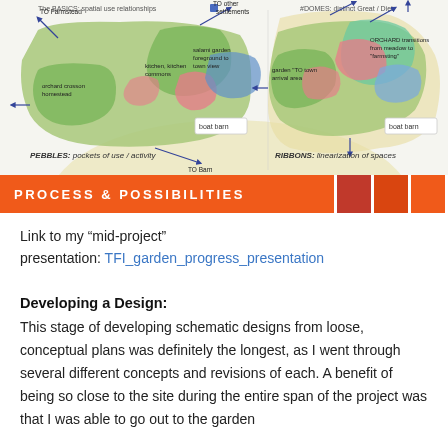[Figure (illustration): Two conceptual landscape design diagrams side by side. Left diagram labeled 'PEBBLES: pockets of use / activity' showing green irregular shapes with arrows pointing to 'TO Farmstead', 'TO other settlements', 'boat barn', and 'TO Barn'. Right diagram labeled 'RIBBONS: linearization of spaces' with similar shapes and arrows including 'boat barn'. Small text labels visible: '#DOMES: distinct Great / Diet'. Top text partially visible: 'The BASICS: spatial use relationships'.]
PROCESS & POSSIBILITIES
Link to my “mid-project” presentation: TFI_garden_progress_presentation
Developing a Design:
This stage of developing schematic designs from loose, conceptual plans was definitely the longest, as I went through several different concepts and revisions of each. A benefit of being so close to the site during the entire span of the project was that I was able to go out to the garden